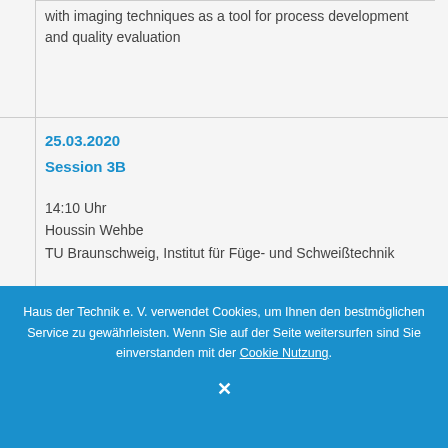with imaging techniques as a tool for process development and quality evaluation
25.03.2020
Session 3B
14:10 Uhr
Houssin Wehbe
TU Braunschweig, Institut für Füge- und Schweißtechnik
A Joining Aspect in the Battery Production – Ultrasonic Welding of Thin Metal Sheets
Haus der Technik e. V. verwendet Cookies, um Ihnen den bestmöglichen Service zu gewährleisten. Wenn Sie auf der Seite weitersurfen sind Sie einverstanden mit der Cookie Nutzung.